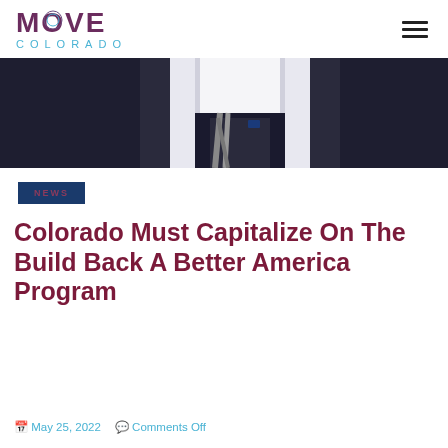MOVE COLORADO
[Figure (photo): Partial view of a person in a dark suit with a tie and a lapel pin, cropped to show torso area only]
NEWS
Colorado Must Capitalize On The Build Back A Better America Program
May 25, 2022   Comments Off